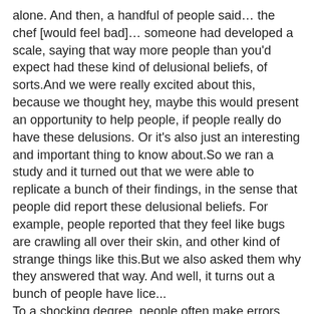alone. And then, a handful of people said… the chef [would feel bad]… someone had developed a scale, saying that way more people than you'd expect had these kind of delusional beliefs, of sorts.And we were really excited about this, because we thought hey, maybe this would present an opportunity to help people, if people really do have these delusions. Or it's also just an interesting and important thing to know about.So we ran a study and it turned out that we were able to replicate a bunch of their findings, in the sense that people did report these delusional beliefs. For example, people reported that they feel like bugs are crawling all over their skin, and other kind of strange things like this.But we also asked them why they answered that way. And well, it turns out a bunch of people have lice...
To a shocking degree, people often make errors when doing statistical analysis, even people that you'd think wouldn't make errors. And this is because statistics is really complicated and is not really well suited for the human brain -- and also because a lot of people work with statistics, they weren't originally trained as statisticians, right? Ironically, a lot of times statisticians don't deal with data at all, they just kind of theorize, and the people dealing with data are not